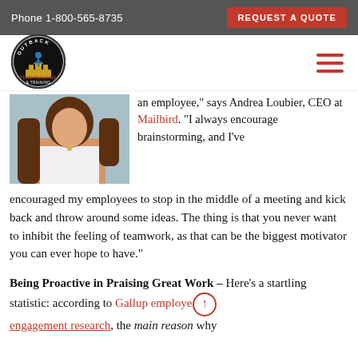Phone 1-800-565-8735 | REQUEST A QUOTE
[Figure (logo): Outback Team Building & Training circular logo with figures and building]
[Figure (photo): Woman with long brown hair wearing white sleeveless top, headshot/portrait photo]
an employee," says Andrea Loubier, CEO at Mailbird. "I always encourage brainstorming, and I've encouraged my employees to stop in the middle of a meeting and kick back and throw around some ideas. The thing is that you never want to inhibit the feeling of teamwork, as that can be the biggest motivator you can ever hope to have."
Being Proactive in Praising Great Work – Here's a startling statistic: according to Gallup employee engagement research, the main reason why